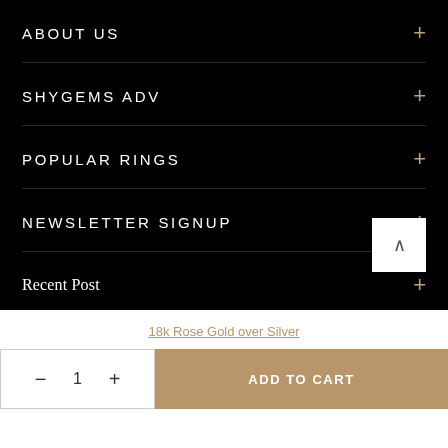ABOUT US +
SHYGEMS ADV +
POPULAR RINGS +
NEWSLETTER SIGNUP +
Recent Post +
18k Rose Gold over Silver
- 1 + ADD TO CART